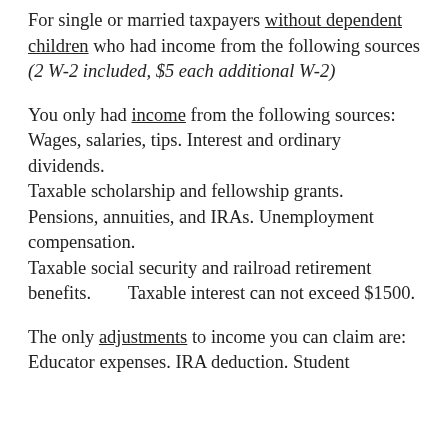For single or married taxpayers without dependent children who had income from the following sources (2 W-2 included, $5 each additional W-2)
You only had income from the following sources:
Wages, salaries, tips. Interest and ordinary dividends.
Taxable scholarship and fellowship grants.
Pensions, annuities, and IRAs. Unemployment compensation.
Taxable social security and railroad retirement benefits.        Taxable interest can not exceed $1500.
The only adjustments to income you can claim are:
Educator expenses. IRA deduction. Student